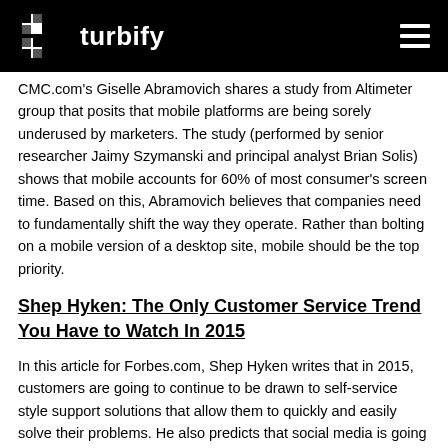turbify
CMC.com's Giselle Abramovich shares a study from Altimeter group that posits that mobile platforms are being sorely underused by marketers. The study (performed by senior researcher Jaimy Szymanski and principal analyst Brian Solis) shows that mobile accounts for 60% of most consumer's screen time. Based on this, Abramovich believes that companies need to fundamentally shift the way they operate. Rather than bolting on a mobile version of a desktop site, mobile should be the top priority.
Shep Hyken: The Only Customer Service Trend You Have to Watch In 2015
In this article for Forbes.com, Shep Hyken writes that in 2015, customers are going to continue to be drawn to self-service style support solutions that allow them to quickly and easily solve their problems. He also predicts that social media is going to continue to be important to businesses old and new, and expresses surprise that some companies still haven't put together an effective social media presence. The